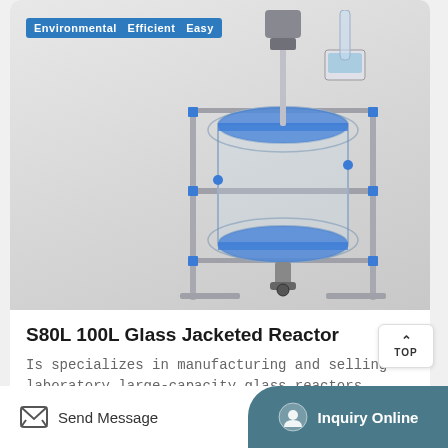[Figure (photo): S80L 100L Glass Jacketed Reactor product photo on light grey background with blue structural frame and metal stand. Badge reads 'Environmental Efficient Easy']
S80L 100L Glass Jacketed Reactor
Is specializes in manufacturing and selling laboratory large-capacity glass reactors....
View This Product
Send Message   Inquiry Online